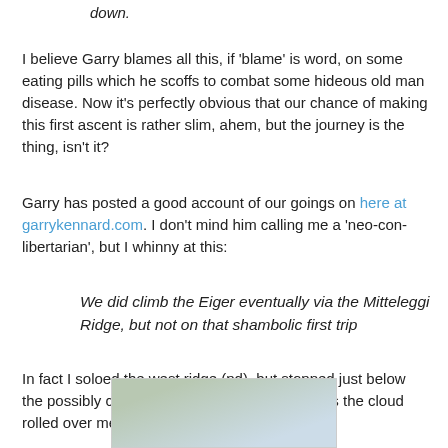down.
I believe Garry blames all this, if 'blame' is word, on some eating pills which he scoffs to combat some hideous old man disease. Now it's perfectly obvious that our chance of making this first ascent is rather slim, ahem, but the journey is the thing, isn't it?
Garry has posted a good account of our goings on here at garrykennard.com. I don't mind him calling me a 'neo-con-libertarian', but I whinny at this:
We did climb the Eiger eventually via the Mitteleggi Ridge, but not on that shambolic first trip
In fact I soloed the west ridge (pd), but stopped just below the possibly corniced summit without a belay as the cloud rolled over me. Here's the photo to prove it:
[Figure (photo): Partial photo visible at bottom of page showing a snowy or cloudy mountain scene with light blue and green tones]